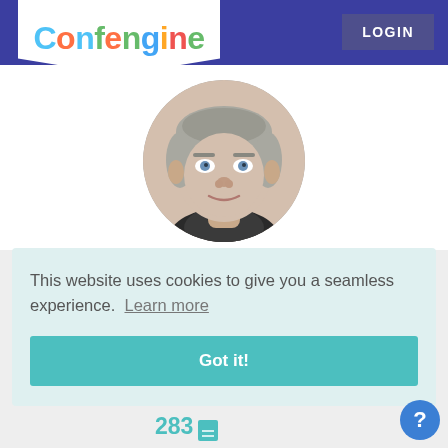[Figure (logo): Confengine logo with colorful letters on white background with pentagon/chevron bottom shape]
LOGIN
[Figure (photo): Circular headshot photo of a middle-aged man with gray hair, blue eyes, wearing a dark shirt, looking at the camera]
This website uses cookies to give you a seamless experience.  Learn more
Got it!
283